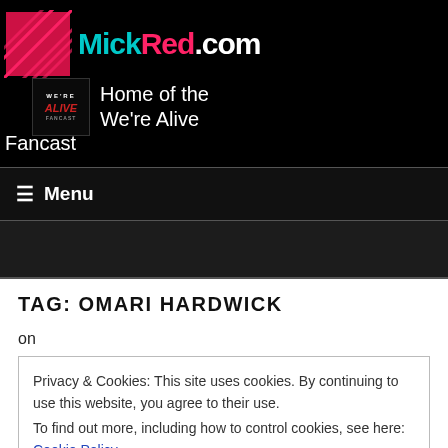MickRed.com — Home of the We're Alive Fancast
☰ Menu
TAG: OMARI HARDWICK
on
Privacy & Cookies: This site uses cookies. By continuing to use this website, you agree to their use.
To find out more, including how to control cookies, see here: Cookie Policy
Close and accept
covering episode 10 of the Bronzeville Series. You're